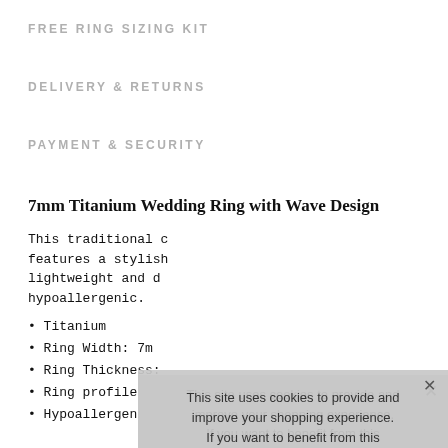FREE RING SIZING KIT
DELIVERY & RETURNS
PAYMENT & SECURITY
7mm Titanium Wedding Ring with Wave Design
This traditional c features a stylish lightweight and d hypoallergenic.
Titanium
Ring Width: 7m
Ring Thickness:
Ring profile: Cu
Hypoallergenic
This site uses cookies to provide and improve your shopping experience. If you want to benefit from this improved service, please opt-in. Cookies Page.

I opt-in to a better browsing experience

ACCEPT COOKIES